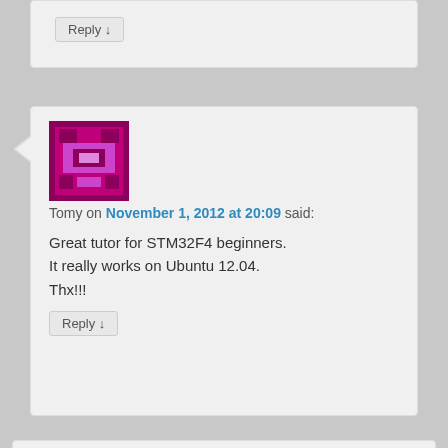Reply ↓
[Figure (illustration): Purple pixel avatar for user Tomy]
Tomy on November 1, 2012 at 20:09 said:
Great tutor for STM32F4 beginners.
It really works on Ubuntu 12.04.
Thx!!!
Reply ↓
[Figure (illustration): Green pixel avatar for user Dean]
Dean on November 5, 2012 at 10:08 said: